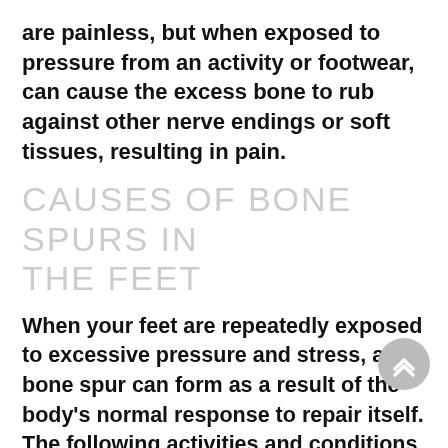are painless, but when exposed to pressure from an activity or footwear, can cause the excess bone to rub against other nerve endings or soft tissues, resulting in pain.
CAUSES OF BONE SPURS IN THE FEET
When your feet are repeatedly exposed to excessive pressure and stress, a bone spur can form as a result of the body's normal response to repair itself. The following activities and conditions are also common causes of bone spurs in the feet:
High-impact activities, such as running
Excessive weight